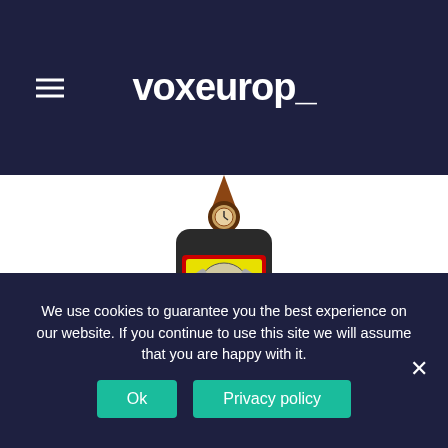voxeurop_
[Figure (illustration): Illustration of a dark-colored bottle shaped like a mobile phone, with a skull-and-crossbones label on a yellow and red background, with a clock-like cap on top, suggesting danger/toxicity.]
We use cookies to guarantee you the best experience on our website. If you continue to use this site we will assume that you are happy with it.
Ok
Privacy policy